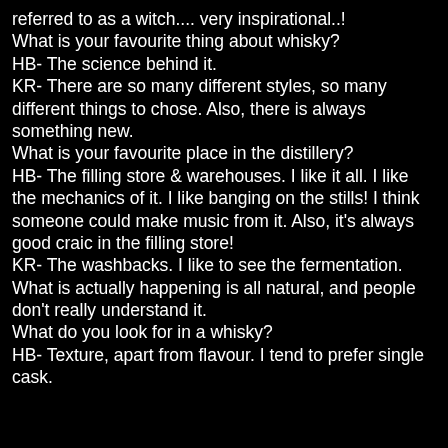referred to as a witch.... very inspirational..!
What is your favourite thing about whisky?
HB- The science behind it.
KR- There are so many different styles, so many different things to chose. Also, there is always something new.
What is your favourite place in the distillery?
HB- The filling store & warehouses. I like it all. I like the mechanics of it. I like banging on the stills! I think someone could make music from it. Also, it's always good craic in the filling store!
KR- The washbacks. I like to see the fermentation. What is actually happening is all natural, and people don't really understand it.
What do you look for in a whisky?
HB- Texture, apart from flavour. I tend to prefer single cask.